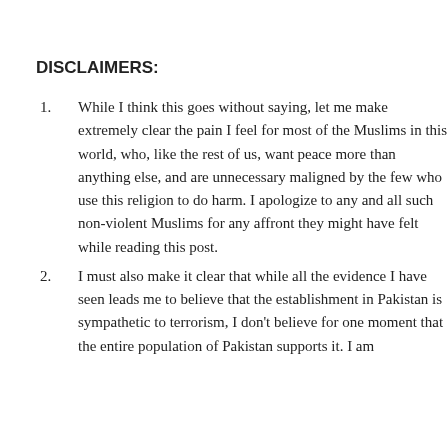DISCLAIMERS:
While I think this goes without saying, let me make extremely clear the pain I feel for most of the Muslims in this world, who, like the rest of us, want peace more than anything else, and are unnecessary maligned by the few who use this religion to do harm. I apologize to any and all such non-violent Muslims for any affront they might have felt while reading this post.
I must also make it clear that while all the evidence I have seen leads me to believe that the establishment in Pakistan is sympathetic to terrorism, I don't believe for one moment that the entire population of Pakistan supports it. I am